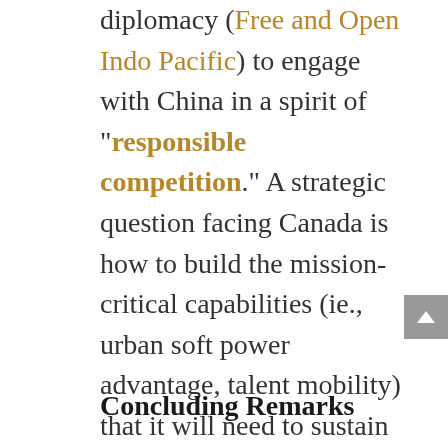diplomacy (Free and Open Indo Pacific) to engage with China in a spirit of "responsible competition." A strategic question facing Canada is how to build the mission-critical capabilities (ie., urban soft power advantage, talent mobility) that it will need to sustain its status as a global middle-ranking power long after Shinzo Abe has left office.
Concluding Remarks